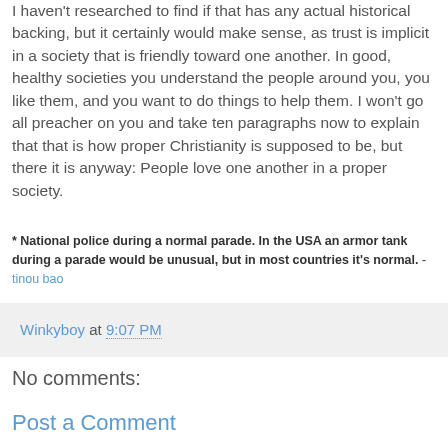I haven't researched to find if that has any actual historical backing, but it certainly would make sense, as trust is implicit in a society that is friendly toward one another. In good, healthy societies you understand the people around you, you like them, and you want to do things to help them. I won't go all preacher on you and take ten paragraphs now to explain that that is how proper Christianity is supposed to be, but there it is anyway: People love one another in a proper society.
* National police during a normal parade. In the USA an armor tank during a parade would be unusual, but in most countries it's normal. - tinou bao
Winkyboy at 9:07 PM
No comments:
Post a Comment